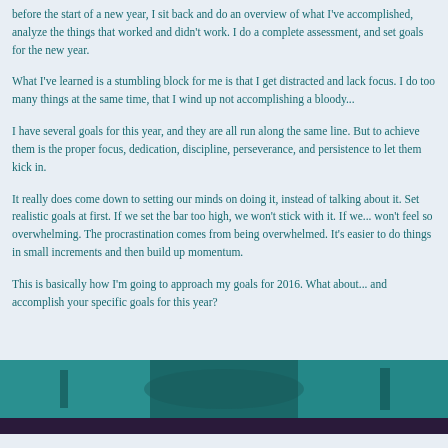before the start of a new year, I sit back and do an overview of what I've accomplished, analyze the things that worked and didn't work. I do a complete assessment, and set goals for the new year.
What I've learned is a stumbling block for me is that I get distracted and lack focus. I do too many things at the same time, that I wind up not accomplishing a bloody...
I have several goals for this year, and they are all run along the same line. But to achieve them is the proper focus, dedication, discipline, perseverance, and persistence to let them kick in.
It really does come down to setting our minds on doing it, instead of talking about it. Set realistic goals at first. If we set the bar too high, we won't stick with it. If we... won't feel so overwhelming. The procrastination comes from being overwhelmed. It's easier to do things in small increments and then build up momentum.
This is basically how I'm going to approach my goals for 2016. What about... and accomplish your specific goals for this year?
[Figure (photo): A photo strip at the bottom showing a teal/turquoise colored scene, partially visible]